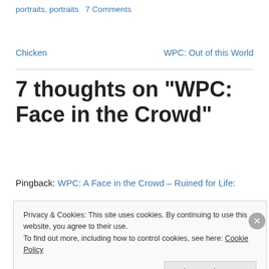portraits, portraits   7 Comments
Chicken	WPC: Out of this World
7 thoughts on “WPC: Face in the Crowd”
Pingback: WPC: A Face in the Crowd – Ruined for Life:
Privacy & Cookies: This site uses cookies. By continuing to use this website, you agree to their use.
To find out more, including how to control cookies, see here: Cookie Policy
Close and accept